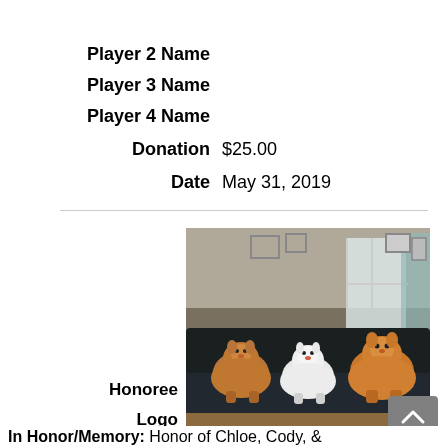Name
Player 2 Name
Player 3 Name
Player 4 Name
Donation  $25.00
Date  May 31, 2019
[Figure (photo): Three Pomeranian dogs sitting on a black leather couch in a home interior setting]
Honoree
Logo
In Honor/Memory: Honor of Chloe, Cody, &